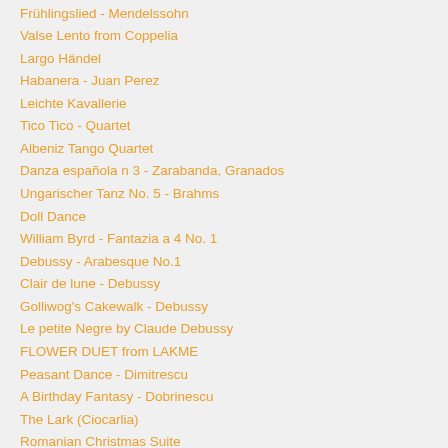Frühlingslied - Mendelssohn
Valse Lento from Coppelia
Largo Händel
Habanera - Juan Perez
Leichte Kavallerie
Tico Tico - Quartet
Albeniz Tango Quartet
Danza española n 3 - Zarabanda, Granados
Ungarischer Tanz No. 5 - Brahms
Doll Dance
William Byrd - Fantazia a 4 No. 1
Debussy - Arabesque No.1
Clair de lune - Debussy
Golliwog's Cakewalk - Debussy
Le petite Negre by Claude Debussy
FLOWER DUET from LAKME
Peasant Dance - Dimitrescu
A Birthday Fantasy - Dobrinescu
The Lark (Ciocarlia)
Romanian Christmas Suite
Singing with Anton Pann
Through the Ebony Woods
Berceuse - Dolly Suite - Faure
I love the Woman Iubesc femeia
La Bikina - Fuentes
Three Preludes - G. Gershwin